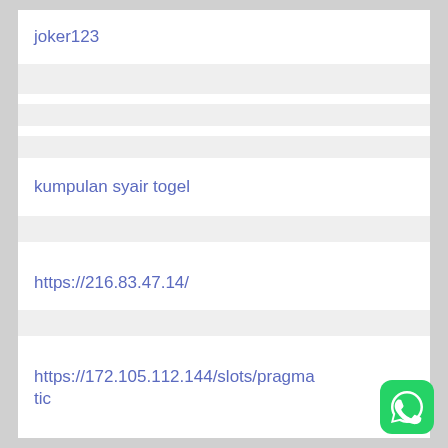joker123
kumpulan syair togel
https://216.83.47.14/
https://172.105.112.144/slots/pragmatic
[Figure (logo): WhatsApp green rounded square icon with white phone/chat bubble logo]